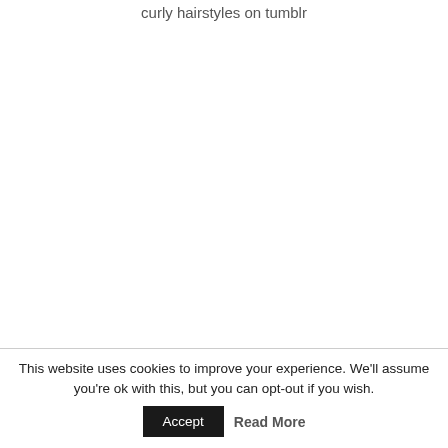curly hairstyles on tumblr
This website uses cookies to improve your experience. We'll assume you're ok with this, but you can opt-out if you wish.
Accept
Read More